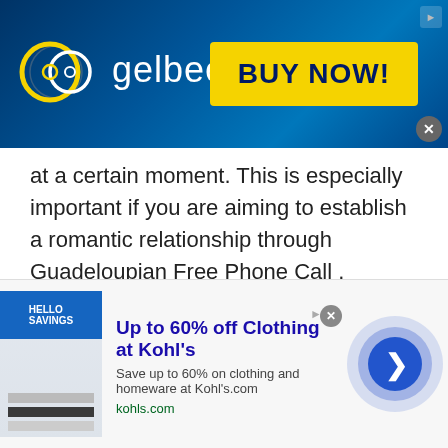[Figure (other): Gelbee banner advertisement with dark blue circuit-board background. Gelbee logo with golden/yellow rings on left, large yellow 'BUY NOW!' button on right.]
at a certain moment. This is especially important if you are aiming to establish a romantic relationship through Guadeloupian Free Phone Call .
[Figure (screenshot): Groupon advertisement box showing 'Groupon Official Site | Online ...' title in blue, description 'Discover & Save with Over 300k of the Best Deals', URL 'www.groupon.com', and a screenshot of the Groupon website with a blue arrow circle button.]
[Figure (screenshot): Kohl's advertisement banner: 'Up to 60% off Clothing at Kohl's' with description 'Save up to 60% on clothing and homeware at Kohl's.com', URL 'kohls.com', thumbnail image on left, blue circular arrow button on right.]